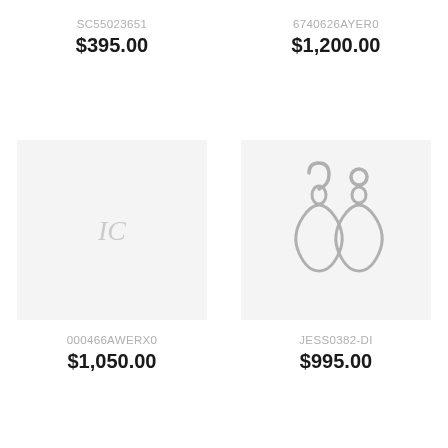SC55023651
$395.00
[Figure (other): Product placeholder with logo watermark]
6740626AYER0
$1,200.00
[Figure (photo): Silver drop earrings - two open teardrop/oval shaped silver dangles with hook clasps]
000466AWERX0
$1,050.00
JESS0382-DI
$995.00